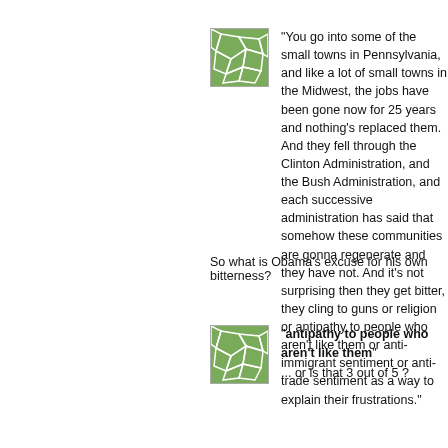[Figure (illustration): Green mosaic/patchwork avatar icon with white lines forming irregular polygons on a green background]
"You go into some of the small towns in Pennsylvania, and like a lot of small towns in the Midwest, the jobs have been gone now for 25 years and nothing's replaced them. And they fell through the Clinton Administration, and the Bush Administration, and each successive administration has said that somehow these communities are gonna regenerate and they have not. And it's not surprising then they get bitter, they cling to guns or religion or antipathy to people who aren't like them or anti-immigrant sentiment or anti-trade sentiment as a way to explain their frustrations."
So what is Obama's excuse for his own bitterness?
[Figure (illustration): Green mosaic/patchwork avatar icon with white lines forming irregular polygons on a green background]
"antipathy to people who aren't like them"
... or is that 3 out of 5 ?